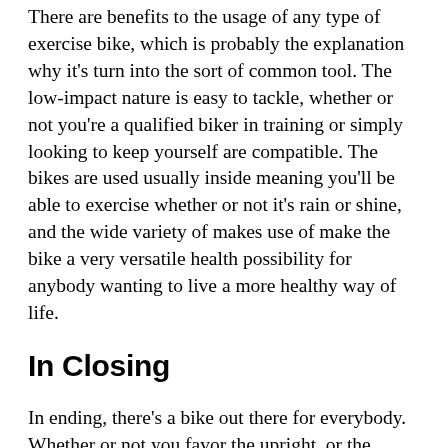There are benefits to the usage of any type of exercise bike, which is probably the explanation why it's turn into the sort of common tool. The low-impact nature is easy to tackle, whether or not you're a qualified biker in training or simply looking to keep yourself are compatible. The bikes are used usually inside meaning you'll be able to exercise whether or not it's rain or shine, and the wide variety of makes use of make the bike a very versatile health possibility for anybody wanting to live a more healthy way of life.
In Closing
In ending, there's a bike out there for everybody. Whether or not you favor the upright, or the comfortable recumbent, stationary bikes are useful for anybody and are a really perfect addition to any training routine.